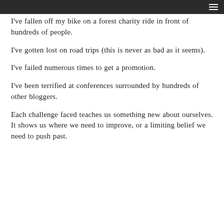[navigation bar with hamburger menu]
I've fallen off my bike on a forest charity ride in front of hundreds of people.
I've gotten lost on road trips (this is never as bad as it seems).
I've failed numerous times to get a promotion.
I've been terrified at conferences surrounded by hundreds of other bloggers.
Each challenge faced teaches us something new about ourselves. It shows us where we need to improve, or a limiting belief we need to push past.